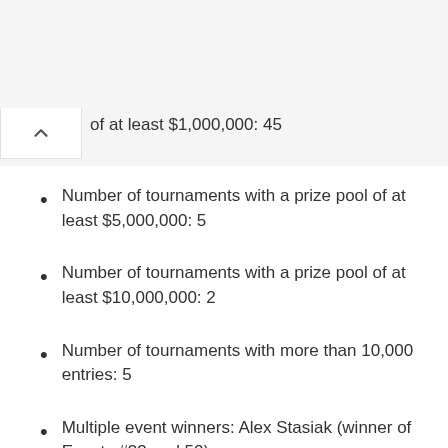of at least $1,000,000: 45
Number of tournaments with a prize pool of at least $5,000,000: 5
Number of tournaments with a prize pool of at least $10,000,000: 2
Number of tournaments with more than 10,000 entries: 5
Multiple event winners: Alex Stasiak (winner of Events #33 and 52)
Multiple final tables played: 39 players